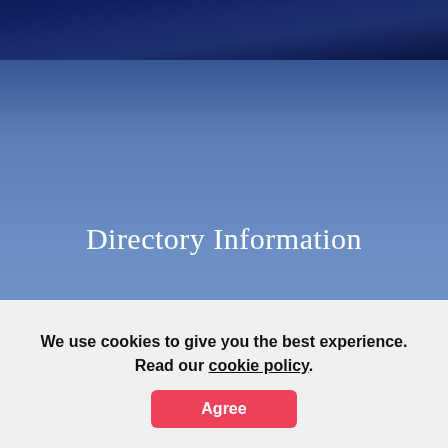Directory Information
Cochise County Community College District (referred to as Cochise College) is a Public, 2-4 years school located in Sierra Vista, AZ. It is classified as Associate's - Private Not-for-profit school by Carnegie Classification and its highest level of offering is Associate's degree. The 2020
We use cookies to give you the best experience. Read our cookie policy.
Agree